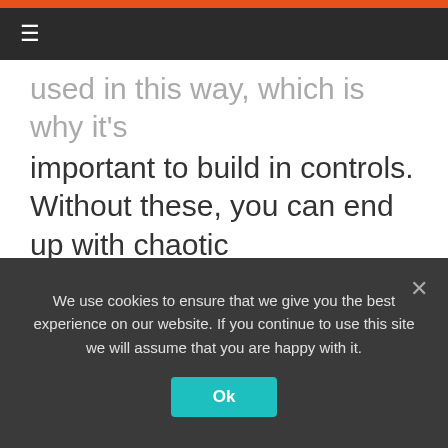☰
used in this way, which is why it's important to build in controls. Without these, you can end up with chaotic implementation and confusion across the organization — not to mention possible security risks. The trick is to balance empowering your citizen developers with necessary guardrails.

If properly designed, next gen is
We use cookies to ensure that we give you the best experience on our website. If you continue to use this site we will assume that you are happy with it.